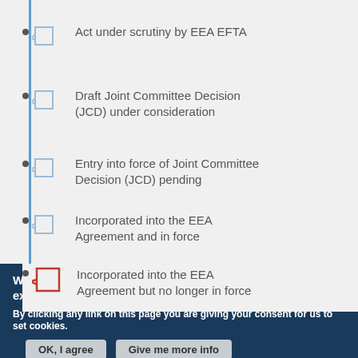Act under scrutiny by EEA EFTA
Draft Joint Committee Decision (JCD) under consideration
Entry into force of Joint Committee Decision (JCD) pending
Incorporated into the EEA Agreement and in force
Incorporated into the EEA Agreement but no longer in force
We use cookies on this site to enhance your user experience
By clicking any link on this page you are giving your consent for us to set cookies.